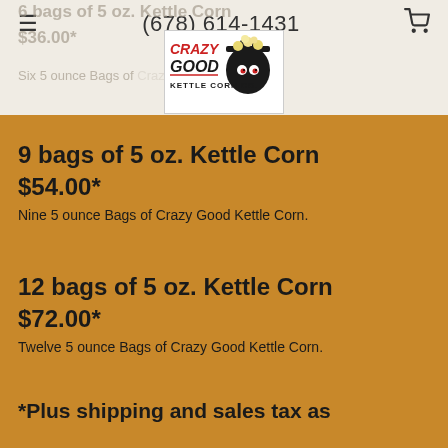(678) 614-1431
[Figure (logo): Crazy Good Kettle Corn Co. logo with illustrated kettle and popcorn]
9 bags of 5 oz. Kettle Corn
$54.00*
Nine 5 ounce Bags of Crazy Good Kettle Corn.
12 bags of 5 oz. Kettle Corn
$72.00*
Twelve 5 ounce Bags of Crazy Good Kettle Corn.
*Plus shipping and sales tax as applicable.